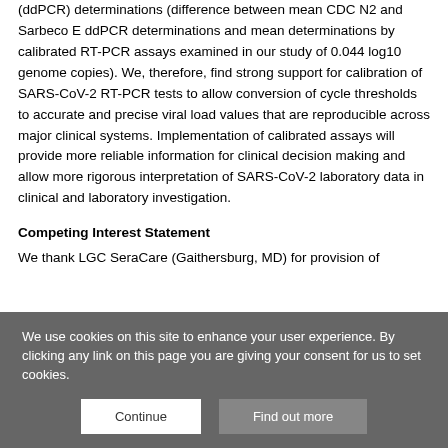(ddPCR) determinations (difference between mean CDC N2 and Sarbeco E ddPCR determinations and mean determinations by calibrated RT-PCR assays examined in our study of 0.044 log10 genome copies). We, therefore, find strong support for calibration of SARS-CoV-2 RT-PCR tests to allow conversion of cycle thresholds to accurate and precise viral load values that are reproducible across major clinical systems. Implementation of calibrated assays will provide more reliable information for clinical decision making and allow more rigorous interpretation of SARS-CoV-2 laboratory data in clinical and laboratory investigation.
Competing Interest Statement
We thank LGC SeraCare (Gaithersburg, MD) for provision of
We use cookies on this site to enhance your user experience. By clicking any link on this page you are giving your consent for us to set cookies.